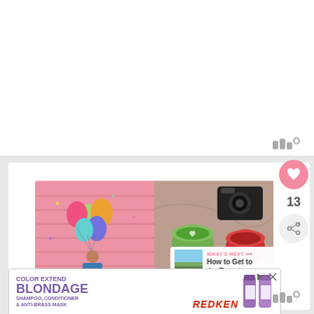[Figure (screenshot): White content card area at top of page]
[Figure (logo): Wattpad logo in grey top right of first card]
[Figure (screenshot): Social media post card with photo collage: left image shows woman holding colorful balloons against pink brick wall, right image shows overhead view of coffee cups and camera on marble surface]
[Figure (infographic): Pink heart like button with count 13 and share button]
13
[Figure (screenshot): What's Next panel showing thumbnail of landscape and text 'How to Get to the Toronto...']
[Figure (screenshot): Advertisement banner for Redken Color Extend Blondage Shampoo, Conditioner & Anti-Brass Mask]
[Figure (logo): Wattpad logo in grey bottom right]